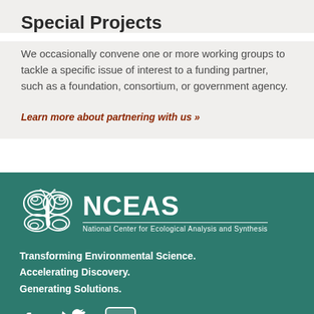Special Projects
We occasionally convene one or more working groups to tackle a specific issue of interest to a funding partner, such as a foundation, consortium, or government agency.
Learn more about partnering with us »
[Figure (logo): NCEAS logo with butterfly illustration and full name: National Center for Ecological Analysis and Synthesis]
Transforming Environmental Science. Accelerating Discovery. Generating Solutions.
[Figure (illustration): Social media icons: Facebook, Twitter, YouTube]